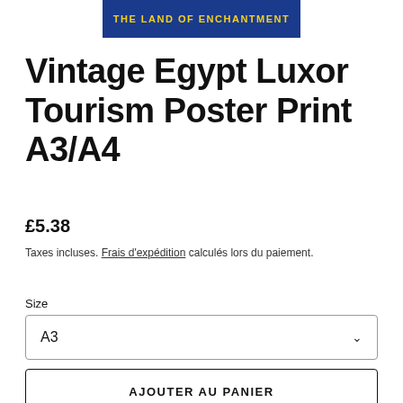[Figure (illustration): Vintage tourism poster banner showing 'THE LAND OF ENCHANTMENT' text on a blue background with yellow lettering]
Vintage Egypt Luxor Tourism Poster Print A3/A4
£5.38
Taxes incluses. Frais d'expédition calculés lors du paiement.
Size
A3
AJOUTER AU PANIER